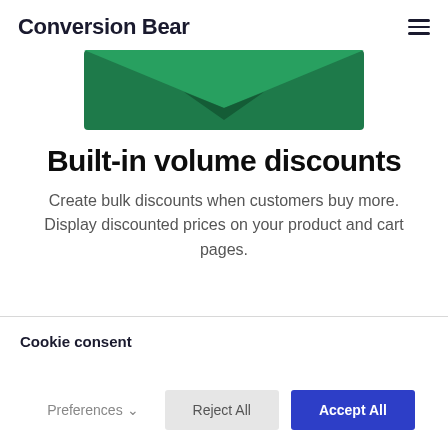Conversion Bear
[Figure (illustration): Partial green envelope/discount graphic visible at top center of page, showing dark green rectangular background with lighter green chevron/arrow shape]
Built-in volume discounts
Create bulk discounts when customers buy more. Display discounted prices on your product and cart pages.
Cookie consent
Preferences, Reject All, Accept All